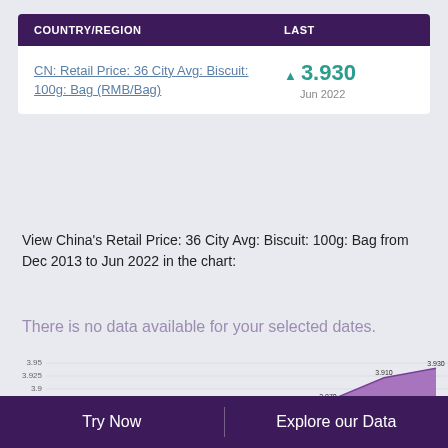| COUNTRY/REGION | LAST |
| --- | --- |
| CN: Retail Price: 36 City Avg: Biscuit: 100g: Bag (RMB/Bag) | ▲ 3.930
Jun 2022 |
View China's Retail Price: 36 City Avg: Biscuit: 100g: Bag from Dec 2013 to Jun 2022 in the chart:
There is no data available for your selected dates.
[Figure (area-chart): CN Retail Price 36 City Avg Biscuit 100g Bag]
Try Now    Explore our Data